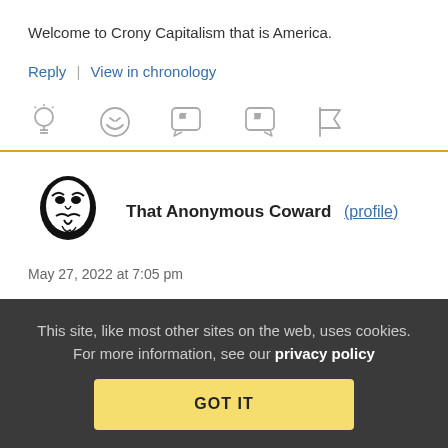Welcome to Crony Capitalism that is America.
Reply | View in chronology
[Figure (infographic): Icon bar with five icons: lightbulb, laughing face, open-quote speech bubble, close-quote speech bubble, and flag]
That Anonymous Coward (profile)
May 27, 2022 at 7:05 pm
This site, like most other sites on the web, uses cookies. For more information, see our privacy policy GOT IT